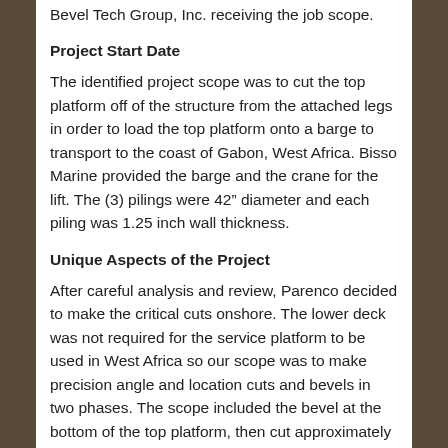Bevel Tech Group, Inc. receiving the job scope.
Project Start Date
The identified project scope was to cut the top platform off of the structure from the attached legs in order to load the top platform onto a barge to transport to the coast of Gabon, West Africa. Bisso Marine provided the barge and the crane for the lift. The (3) pilings were 42” diameter and each piling was 1.25 inch wall thickness.
Unique Aspects of the Project
After careful analysis and review, Parenco decided to make the critical cuts onshore. The lower deck was not required for the service platform to be used in West Africa so our scope was to make precision angle and location cuts and bevels in two phases. The scope included the bevel at the bottom of the top platform, then cut approximately 15 feet of piling off the lower